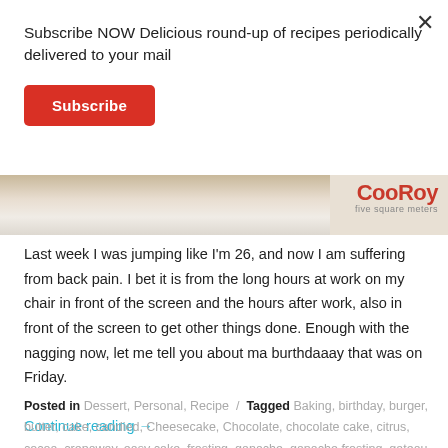Subscribe NOW Delicious round-up of recipes periodically delivered to your mail
Subscribe
[Figure (photo): Partial view of a bowl/plate with a logo reading 'CooRoy five square meters' in the top right corner of the image strip]
Last week I was jumping like I'm 26, and now I am suffering from back pain. I bet it is from the long hours at work on my chair in front of the screen and the hours after work, also in front of the screen to get other things done. Enough with the nagging now, let me tell you about ma burthdaaay that was on Friday.
Continue reading →
Posted in Dessert, Personal, Recipe / Tagged Baking, birthday, burger, butter, cake, candied, Cheesecake, Chocolate, chocolate cake, citrus, cocoa, crepaway, easy cake, frosting, ganache, ganache frosting, gateau,